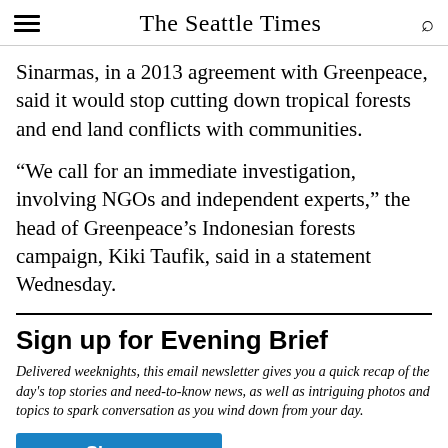The Seattle Times
Sinarmas, in a 2013 agreement with Greenpeace, said it would stop cutting down tropical forests and end land conflicts with communities.
“We call for an immediate investigation, involving NGOs and independent experts,” the head of Greenpeace’s Indonesian forests campaign, Kiki Taufik, said in a statement Wednesday.
Sign up for Evening Brief
Delivered weeknights, this email newsletter gives you a quick recap of the day’s top stories and need-to-know news, as well as intriguing photos and topics to spark conversation as you wind down from your day.
Sign up